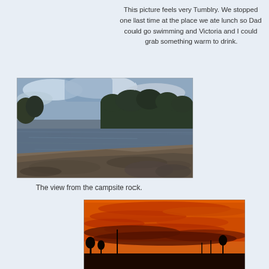This picture feels very Tumblry. We stopped one last time at the place we ate lunch so Dad could go swimming and Victoria and I could grab something warm to drink.
[Figure (photo): A lake viewed from a rocky shoreline with trees and cloudy sky in the background]
The view from the campsite rock.
[Figure (photo): A dramatic orange and red sunset sky with silhouettes of trees and a structure in the foreground]